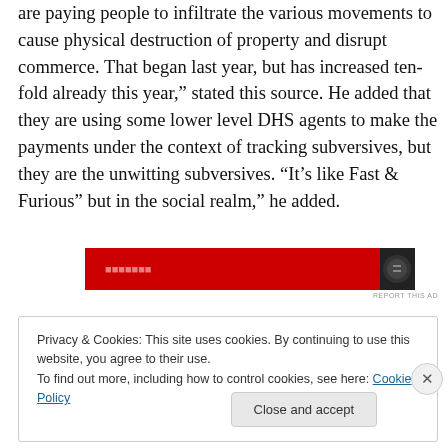are paying people to infiltrate the various movements to cause physical destruction of property and disrupt commerce. That began last year, but has increased ten-fold already this year," stated this source. He added that they are using some lower level DHS agents to make the payments under the context of tracking subversives, but they are the unwitting subversives. “It’s like Fast & Furious” but in the social realm,” he added.
[Figure (other): Red advertisement banner with dark circular icon on the right side]
REPORT THIS AD
Privacy & Cookies: This site uses cookies. By continuing to use this website, you agree to their use.
To find out more, including how to control cookies, see here: Cookie Policy